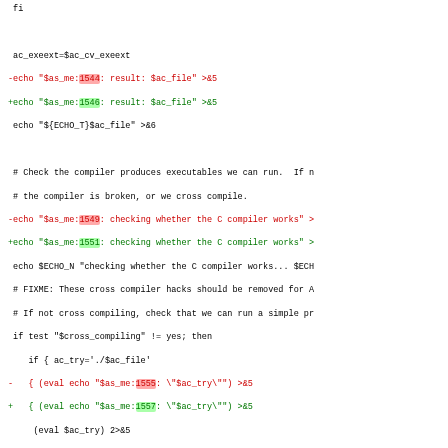diff/patch code snippet showing shell script changes with line number modifications around ac_exeext, C compiler checks, and cross-compile detection